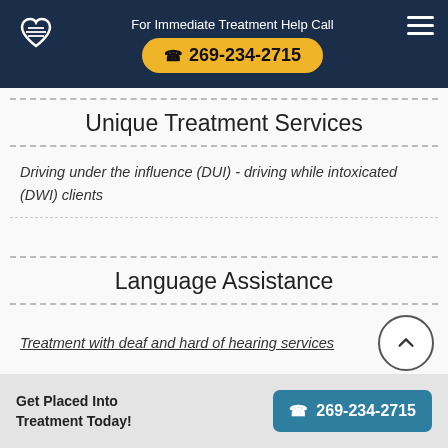For Immediate Treatment Help Call 269-234-2715
Unique Treatment Services
Driving under the influence (DUI) - driving while intoxicated (DWI) clients
Language Assistance
Treatment with deaf and hard of hearing services
Get Placed Into Treatment Today! 269-234-2715